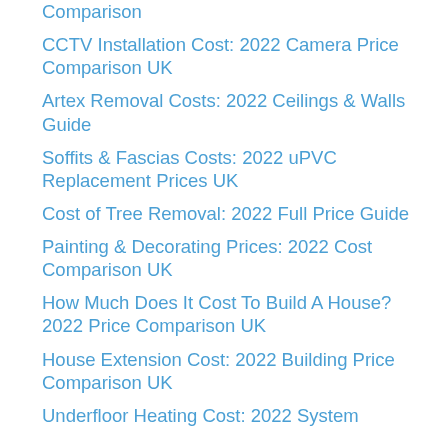Comparison
CCTV Installation Cost: 2022 Camera Price Comparison UK
Artex Removal Costs: 2022 Ceilings & Walls Guide
Soffits & Fascias Costs: 2022 uPVC Replacement Prices UK
Cost of Tree Removal: 2022 Full Price Guide
Painting & Decorating Prices: 2022 Cost Comparison UK
How Much Does It Cost To Build A House? 2022 Price Comparison UK
House Extension Cost: 2022 Building Price Comparison UK
Underfloor Heating Cost: 2022 System